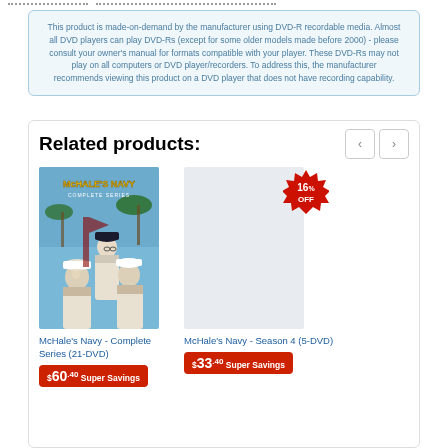This product is made-on-demand by the manufacturer using DVD-R recordable media. Almost all DVD players can play DVD-Rs (except for some older models made before 2000) - please consult your owner's manual for formats compatible with your player. These DVD-Rs may not play on all computers or DVD player/recorders. To address this, the manufacturer recommends viewing this product on a DVD player that does not have recording capability.
Related products:
[Figure (photo): DVD cover image for McHale's Navy - Complete Series showing naval officers in white uniforms against a tropical background with palm trees]
McHale's Navy - Complete Series (21-DVD)
$60.40 Super Savings
16% OFF
McHale's Navy - Season 4 (5-DVD)
$33.40 Super Savings